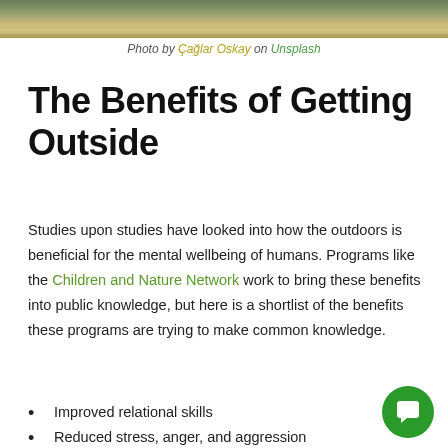[Figure (photo): Aerial or landscape photo showing rocky/mountainous terrain with golden and green tones, cropped at top of page]
Photo by Çağlar Oskay on Unsplash
The Benefits of Getting Outside
Studies upon studies have looked into how the outdoors is beneficial for the mental wellbeing of humans. Programs like the Children and Nature Network work to bring these benefits into public knowledge, but here is a shortlist of the benefits these programs are trying to make common knowledge.
Improved relational skills
Reduced stress, anger, and aggression